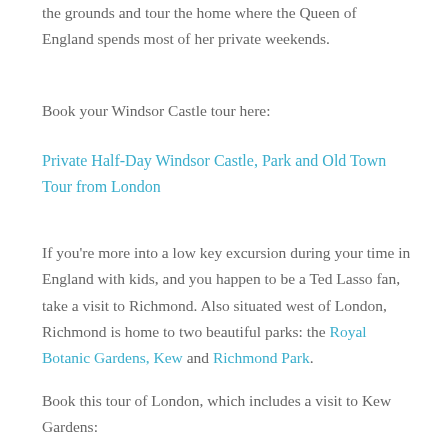the grounds and tour the home where the Queen of England spends most of her private weekends.
Book your Windsor Castle tour here:
Private Half-Day Windsor Castle, Park and Old Town Tour from London
If you're more into a low key excursion during your time in England with kids, and you happen to be a Ted Lasso fan, take a visit to Richmond. Also situated west of London, Richmond is home to two beautiful parks: the Royal Botanic Gardens, Kew and Richmond Park.
Book this tour of London, which includes a visit to Kew Gardens: